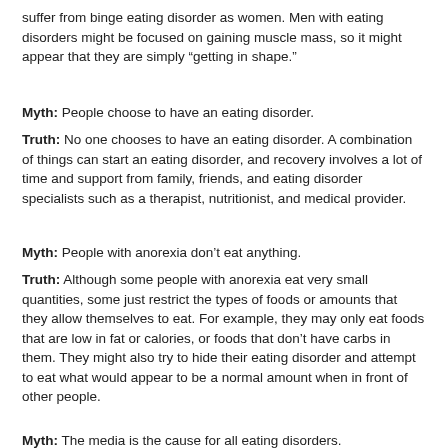suffer from binge eating disorder as women. Men with eating disorders might be focused on gaining muscle mass, so it might appear that they are simply “getting in shape.”
Myth: People choose to have an eating disorder.
Truth: No one chooses to have an eating disorder. A combination of things can start an eating disorder, and recovery involves a lot of time and support from family, friends, and eating disorder specialists such as a therapist, nutritionist, and medical provider.
Myth: People with anorexia don’t eat anything.
Truth: Although some people with anorexia eat very small quantities, some just restrict the types of foods or amounts that they allow themselves to eat. For example, they may only eat foods that are low in fat or calories, or foods that don’t have carbs in them. They might also try to hide their eating disorder and attempt to eat what would appear to be a normal amount when in front of other people.
Myth: The media is the cause for all eating disorders.